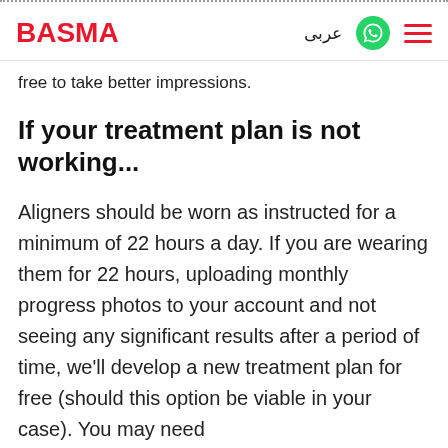BASMA | عربى
free to take better impressions.
If your treatment plan is not working...
Aligners should be worn as instructed for a minimum of 22 hours a day. If you are wearing them for 22 hours, uploading monthly progress photos to your account and not seeing any significant results after a period of time, we'll develop a new treatment plan for free (should this option be viable in your case). You may need